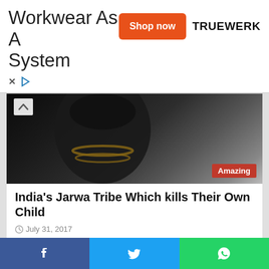[Figure (screenshot): Advertisement banner for Truewerk workwear. Shows 'Workwear As A System' text, an orange 'Shop now' button, and the TRUEWERK logo.]
[Figure (photo): Dark image of a tribal person with beaded necklace. Red 'Amazing' badge in bottom right corner. Chevron up arrow top left.]
India's Jarwa Tribe Which kills Their Own Child
July 31, 2017
Health
[Figure (photo): Health section thumbnail showing medical professionals in a hospital corridor. 'Demo Photo' label overlay in top left. Red scroll-to-top button bottom right.]
[Figure (screenshot): Social sharing bar at the bottom with Facebook (blue), Twitter (light blue), and WhatsApp (green) buttons.]